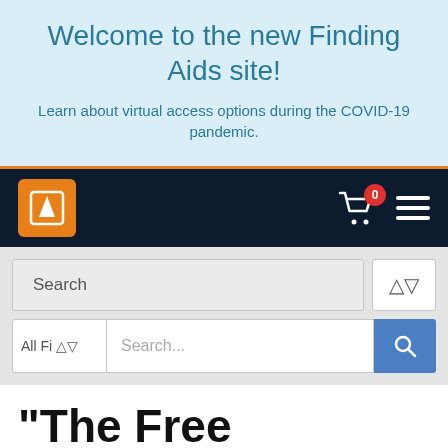Welcome to the new Finding Aids site!
Learn about virtual access options during the COVID-19 pandemic.
[Figure (screenshot): Website navigation bar with orange logo icon, shopping cart with red badge showing 0, and hamburger menu on dark navy background]
[Figure (screenshot): Search interface with a Search label box and dropdown, plus a row with All Fi dropdown filter, Search... text input, and blue search button]
"The Free Company Presents..."